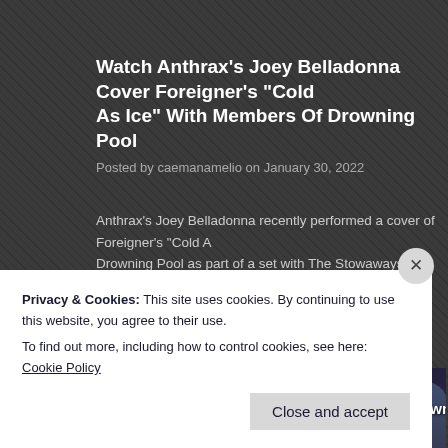Watch Anthrax's Joey Belladonna Cover Foreigner's "Cold As Ice" With Members Of Drowning Pool
Posted by caemanamelio on January 30, 2022
Anthrax's Joey Belladonna recently performed a cover of Foreigner's "Cold As Ice" with members of Drowning Pool as part of a set with The Stowaways on this year's ShipRocker. You can watch some fan-filmed footage of that below:
[Figure (screenshot): Embedded video thumbnail showing STOWAWAYS Joey Belladonna, Drowning Pool performance with channel icon P and stage lighting]
Privacy & Cookies: This site uses cookies. By continuing to use this website, you agree to their use.
To find out more, including how to control cookies, see here: Cookie Policy
Close and accept